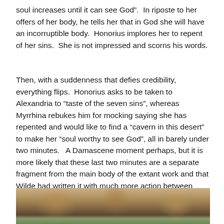soul increases until it can see God”.  In riposte to her offers of her body, he tells her that in God she will have an incorruptible body.  Honorius implores her to repent of her sins.  She is not impressed and scorns his words.
Then, with a suddenness that defies credibility, everything flips.  Honorius asks to be taken to Alexandria to “taste of the seven sins”, whereas Myrrhina rebukes him for mocking saying she has repented and would like to find a “cavern in this desert” to make her “soul worthy to see God”, all in barely under two minutes.   A Damascene moment perhaps, but it is more likely that these last two minutes are a separate fragment from the main body of the extant work and that Wilde had written it with much more action between scorn and redemption.
[Figure (photo): Partial view of a photograph showing what appears to be an animal or natural scene, cropped at the bottom of the page]